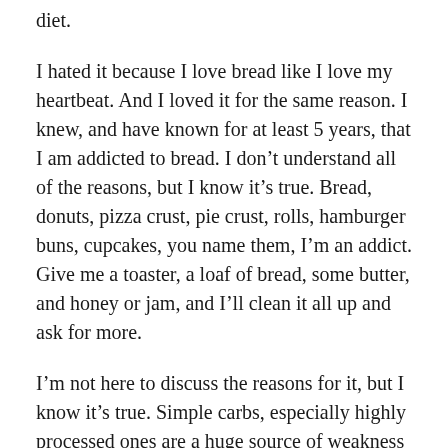diet.
I hated it because I love bread like I love my heartbeat. And I loved it for the same reason. I knew, and have known for at least 5 years, that I am addicted to bread. I don't understand all of the reasons, but I know it's true. Bread, donuts, pizza crust, pie crust, rolls, hamburger buns, cupcakes, you name them, I'm an addict. Give me a toaster, a loaf of bread, some butter, and honey or jam, and I'll clean it all up and ask for more.
I'm not here to discuss the reasons for it, but I know it's true. Simple carbs, especially highly processed ones are a huge source of weakness for me, candy bars, potato chips, fries, onion